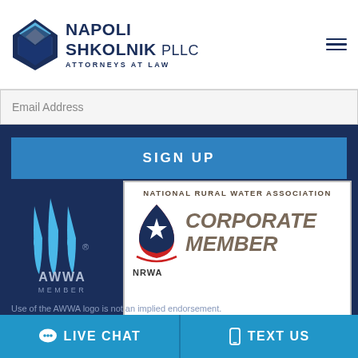[Figure (logo): Napoli Shkolnik PLLC Attorneys at Law logo with diamond/geometric blue icon]
Email Address
SIGN UP
[Figure (logo): AWWA Member logo with blue water drop and three stripes]
[Figure (logo): National Rural Water Association Corporate Member (NRWA) logo with blue water drop and star]
Use of the AWWA logo is not an implied endorsement.
LIVE CHAT
TEXT US